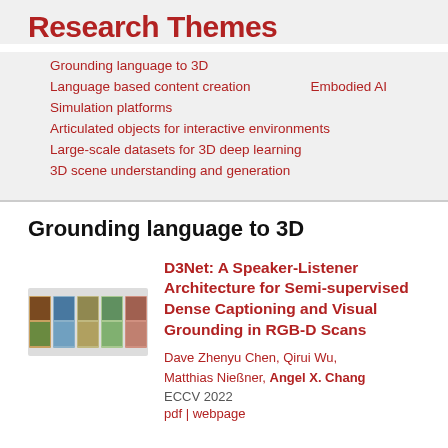Research Themes
Grounding language to 3D
Language based content creation
Embodied AI
Simulation platforms
Articulated objects for interactive environments
Large-scale datasets for 3D deep learning
3D scene understanding and generation
Grounding language to 3D
D3Net: A Speaker-Listener Architecture for Semi-supervised Dense Captioning and Visual Grounding in RGB-D Scans
Dave Zhenyu Chen, Qirui Wu, Matthias Nießner, Angel X. Chang
ECCV 2022
pdf | webpage
[Figure (photo): Thumbnail image strip showing multiple small scene images for D3Net paper]